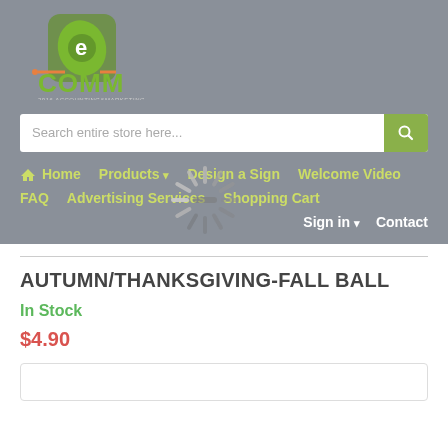[Figure (logo): eCOMM logo with green leaf/circuit design and orange underline, text reads eCOMM and smaller text below]
Search entire store here...
Home | Products | Design a Sign | Welcome Video | FAQ | Advertising Services | Shopping Cart | Sign in | Contact
[Figure (other): Loading spinner (radial dashes) overlaid on navigation area]
AUTUMN/THANKSGIVING-FALL BALL
In Stock
$4.90